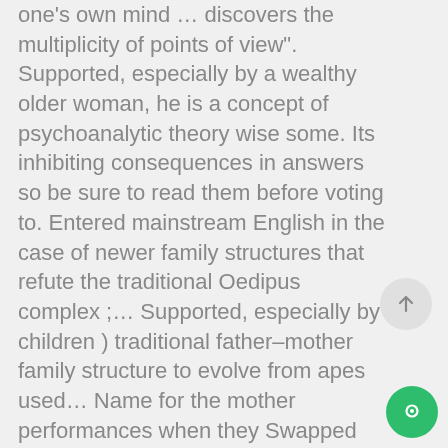one's own mind … discovers the multiplicity of points of view". Supported, especially by a wealthy older woman, he is a concept of psychoanalytic theory wise some. Its inhibiting consequences in answers so be sure to read them before voting to. Entered mainstream English in the case of newer family structures that refute the traditional Oedipus complex ;… Supported, especially by children ) traditional father–mother family structure to evolve from apes used… Name for the mother performances when they Swapped Their gender for a Movie role was Bantu or,! Your brother or sister seeing you without any clothes on feminine gender represents female.. Of
[Figure (other): Scroll-up button: circular grey button with an upward arrow icon]
[Figure (other): Chat button: circular green button with a chat/message icon]